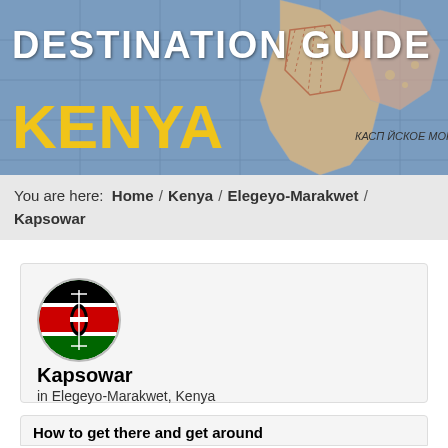[Figure (illustration): Travel destination guide header banner with map background showing Caspian Sea region, overlaid with white bold text 'DESTINATION GUIDE' and yellow bold text 'KENYA']
You are here: Home / Kenya / Elegeyo-Marakwet / Kapsowar
[Figure (illustration): Info card with circular Kenya flag icon, showing city name 'Kapsowar' in bold and subtitle 'in Elegeyo-Marakwet, Kenya']
Kapsowar
in Elegeyo-Marakwet, Kenya
How to get there and get around
Kitale Airport (42 mi)
Eldoret International Airport (46 mi)
Kabarnea Airport